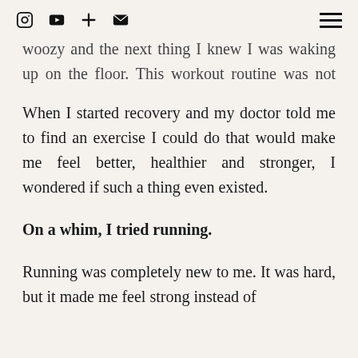[icons: Instagram, YouTube, Plus, Email] [Hamburger menu]
woozy and the next thing I knew I was waking up on the floor. This workout routine was not working for me, and I was worried for myself, but I was also a really f'd up kind of happy with myself.
When I started recovery and my doctor told me to find an exercise I could do that would make me feel better, healthier and stronger, I wondered if such a thing even existed.
On a whim, I tried running.
Running was completely new to me. It was hard, but it made me feel strong instead of